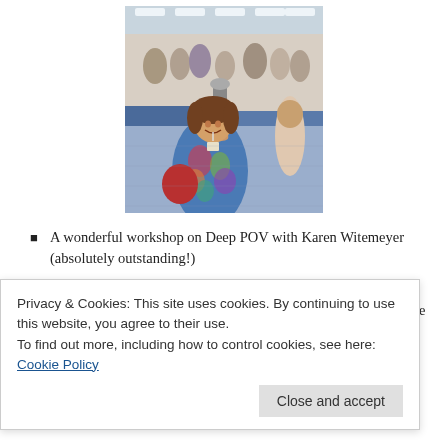[Figure (photo): A woman smiling and holding up a trophy/award in a conference hall, surrounded by other attendees.]
A wonderful workshop on Deep POV with Karen Witemeyer (absolutely outstanding!)
“From Sweet to Scorching: Writing Intimacy…” with a panel that included Roni Loren, Susan Mallory, Shana Galen, Deeanne Gist, Sophie Jordan and moderated by Tiffany Reisz
Privacy & Cookies: This site uses cookies. By continuing to use this website, you agree to their use.
To find out more, including how to control cookies, see here: Cookie Policy